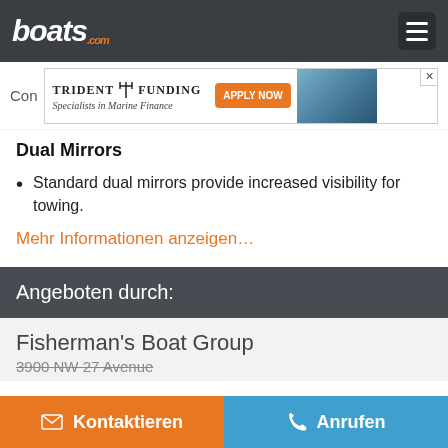boats.com
[Figure (other): Trident Funding advertisement banner — Specialists in Marine Finance, Apply Now button, boat image]
Dual Mirrors
Standard dual mirrors provide increased visibility for towing.
Mehr Informationen anzeigen…
Angeboten durch:
Fisherman's Boat Group
3900 NW 27 Avenue
Kontaktieren   Anrufen